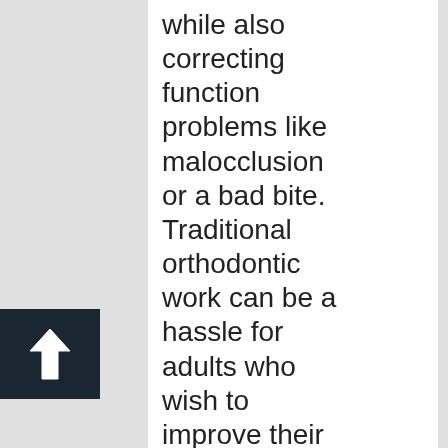while also correcting function problems like malocclusion or a bad bite. Traditional orthodontic work can be a hassle for adults who wish to improve their smiles, but Dr. Ceyhan also offers alternative options such as Invisalign 19s virtually invisible braces to prevent the